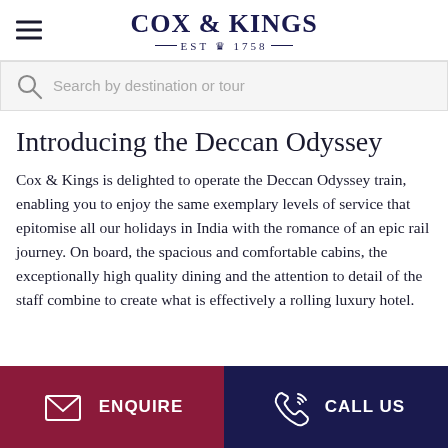COX & KINGS — EST ♛ 1758 —
Search by destination or tour
Introducing the Deccan Odyssey
Cox & Kings is delighted to operate the Deccan Odyssey train, enabling you to enjoy the same exemplary levels of service that epitomise all our holidays in India with the romance of an epic rail journey. On board, the spacious and comfortable cabins, the exceptionally high quality dining and the attention to detail of the staff combine to create what is effectively a rolling luxury hotel.
ENQUIRE   CALL US